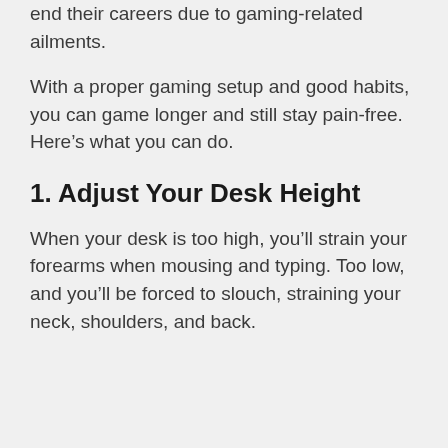end their careers due to gaming-related ailments.
With a proper gaming setup and good habits, you can game longer and still stay pain-free. Here’s what you can do.
1. Adjust Your Desk Height
When your desk is too high, you’ll strain your forearms when mousing and typing. Too low, and you’ll be forced to slouch, straining your neck, shoulders, and back.